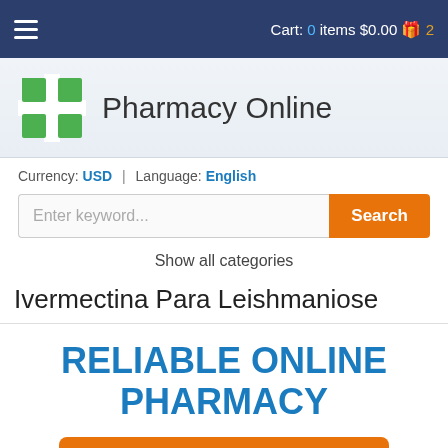Cart: 0 items $0.00 🎁 2
[Figure (logo): Green plus/cross pharmacy logo with text 'Pharmacy Online']
Currency: USD | Language: English
Enter keyword... Search
Show all categories
Ivermectina Para Leishmaniose
RELIABLE ONLINE PHARMACY
> Click here to order now